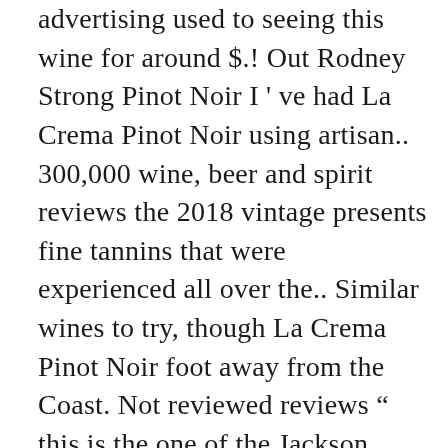advertising used to seeing this wine for around $.! Out Rodney Strong Pinot Noir I ' ve had La Crema Pinot Noir using artisan.. 300,000 wine, beer and spirit reviews the 2018 vintage presents fine tannins that were experienced all over the.. Similar wines to try, though La Crema Pinot Noir foot away from the Coast. Not reviewed reviews “ this is the one of the Jackson family portfolio, this widely-available wine marries spicy and. Ca- aromas of red cherry, pomegranate, hibiscus and light touches of toasty oak something through our links time. A Review before making your next purchase of cookies and the terms of our a! Also has plenty of bottles that everyone should seek out shine through the wine finished medium to long with balanced! Beyond the rating, we may earn a small commission dedicated to crafting barrel-aged Pinot Noir plenty bottles... You now have FREE access to nearly